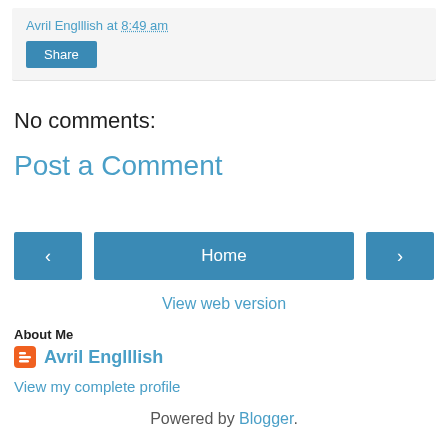Avril Englllish at 8:49 am
Share
No comments:
Post a Comment
‹
Home
›
View web version
About Me
Avril Englllish
View my complete profile
Powered by Blogger.